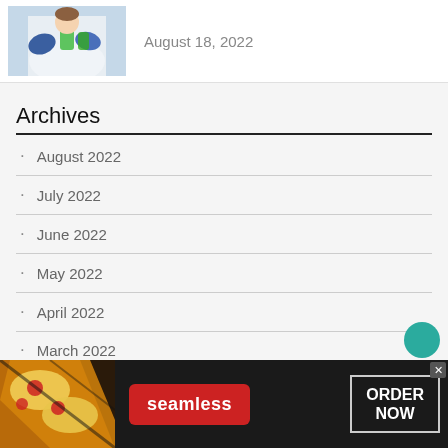[Figure (photo): Person in lab coat and blue gloves working with green liquid in laboratory setting]
August 18, 2022
Archives
August 2022
July 2022
June 2022
May 2022
April 2022
March 2022
[Figure (photo): Seamless food delivery advertisement banner showing pizza slices, Seamless logo in red, and ORDER NOW button]